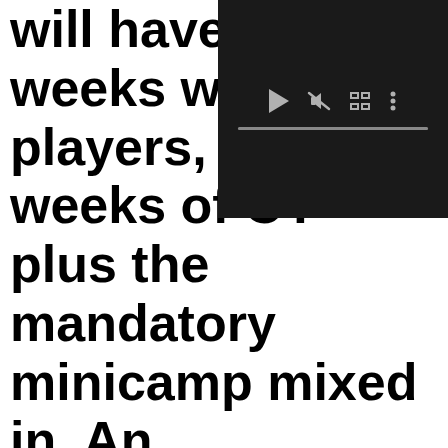will have had weeks with the players, with weeks of OTA plus the mandatory minicamp mixed in. An injury in the course of that could, of course, create a quarterback need somewhere. But even absent that, there could be a team or two that decides, after
[Figure (screenshot): Video player overlay in top-right corner showing dark background with playback controls: play button, mute icon, fullscreen icon, more options icon, and a progress bar at the bottom.]